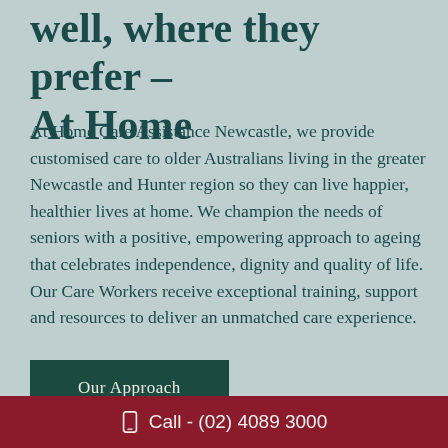well, where they prefer – At Home
At Home Care Assistance Newcastle, we provide customised care to older Australians living in the greater Newcastle and Hunter region so they can live happier, healthier lives at home. We champion the needs of seniors with a positive, empowering approach to ageing that celebrates independence, dignity and quality of life. Our Care Workers receive exceptional training, support and resources to deliver an unmatched care experience.
Our Approach
Call - (02) 4089 3000